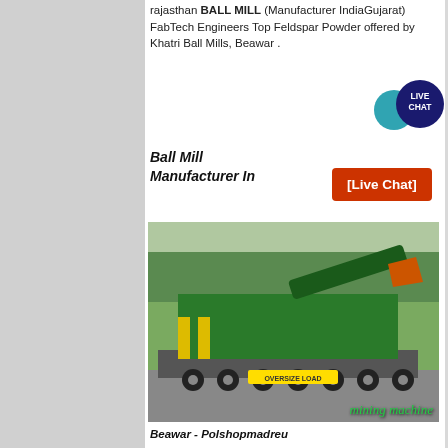rajasthan BALL MILL (Manufacturer IndiaGujarat) FabTech Engineers Top Feldspar Powder offered by Khatri Ball Mills, Beawar .
Ball Mill Manufacturer In
[Figure (photo): Large green heavy mining/crushing machine mounted on a low-loader flatbed truck on a road with trees in background. Text 'OVERSIZE LOAD' visible on truck. Overlay text reads 'mining machine'.]
Beawar - Polshopmadreu
Continus Ballmill Manufacturer In Beawar -,